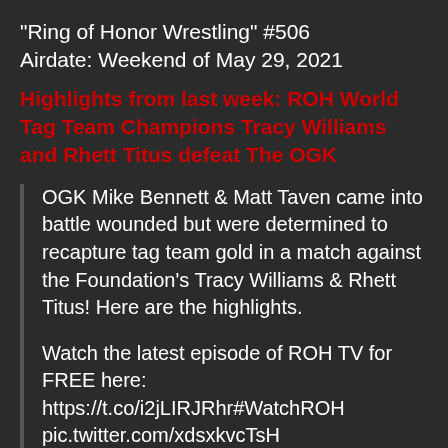“Ring of Honor Wrestling” #506
Airdate: Weekend of May 29, 2021
Highlights from last week: ROH World Tag Team Champions Tracy Williams and Rhett Titus defeat The OGK
OGK Mike Bennett & Matt Taven came into battle wounded but were determined to recapture tag team gold in a match against the Foundation’s Tracy Williams & Rhett Titus! Here are the highlights.
Watch the latest episode of ROH TV for FREE here:
https://t.co/i2jLIRJRhr#WatchROH
pic.twitter.com/xdsxkvcTsH
— ROH Wrestling (@ringofhonor) May 25, 2021